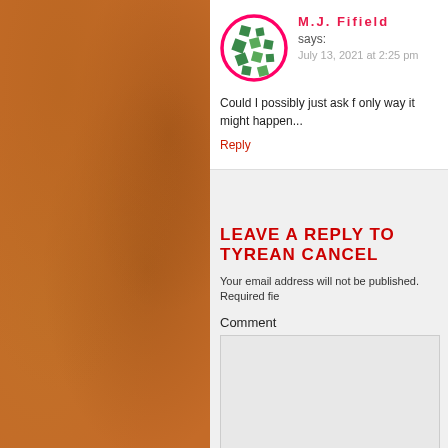[Figure (illustration): Avatar icon for M.J. Fifield — circular profile image with pink border, showing a green and white geometric/quilt pattern on white background]
M.J. Fifield says:
July 13, 2021 at 2:25 pm
Could I possibly just ask f only way it might happen...
Reply
LEAVE A REPLY TO TYREAN CANCEL
Your email address will not be published. Required fie
Comment
Name*